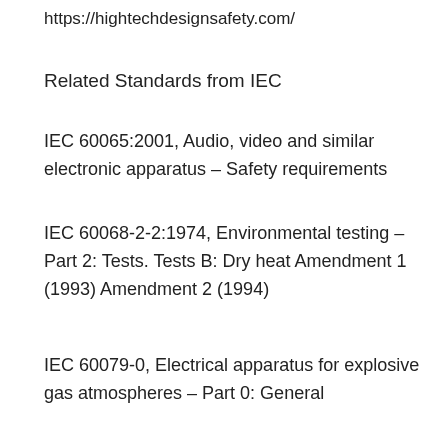https://hightechdesignsafety.com/
Related Standards from IEC
IEC 60065:2001, Audio, video and similar electronic apparatus – Safety requirements
IEC 60068-2-2:1974, Environmental testing – Part 2: Tests. Tests B: Dry heat Amendment 1 (1993) Amendment 2 (1994)
IEC 60079-0, Electrical apparatus for explosive gas atmospheres – Part 0: General